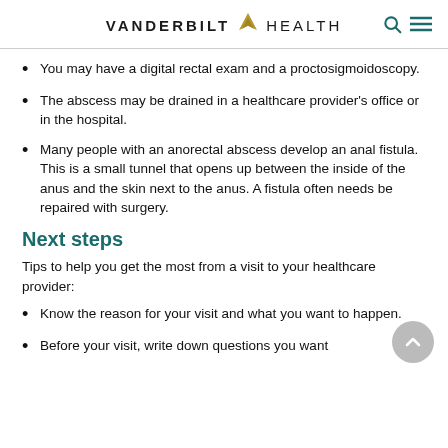VANDERBILT HEALTH
You may have a digital rectal exam and a proctosigmoidoscopy.
The abscess may be drained in a healthcare provider's office or in the hospital.
Many people with an anorectal abscess develop an anal fistula. This is a small tunnel that opens up between the inside of the anus and the skin next to the anus. A fistula often needs be repaired with surgery.
Next steps
Tips to help you get the most from a visit to your healthcare provider:
Know the reason for your visit and what you want to happen.
Before your visit, write down questions you want